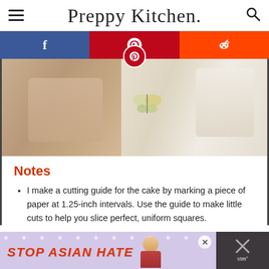Preppy Kitchen
[Figure (photo): Person in apron rolling dough on left; fondant-covered petit fours on decorative plate on right]
Notes
I make a cutting guide for the cake by marking a piece of paper at 1.25-inch intervals. Use the guide to make little cuts to help you slice perfect, uniform squares.
[Figure (infographic): Stop Asian Hate advertisement banner at bottom of page with close button and partial overlapping content on right]